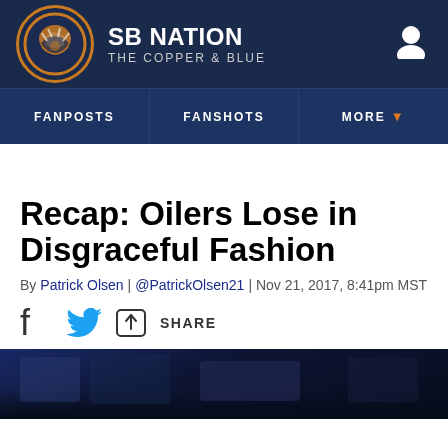SB NATION - THE COPPER & BLUE
FANPOSTS | FANSHOTS | MORE
Recap: Oilers Lose in Disgraceful Fashion
By Patrick Olsen | @PatrickOlsen21 | Nov 21, 2017, 8:41pm MST
SHARE
[Figure (photo): Dark arena photo, likely hockey game, fans visible in background with blue and gold team colors]